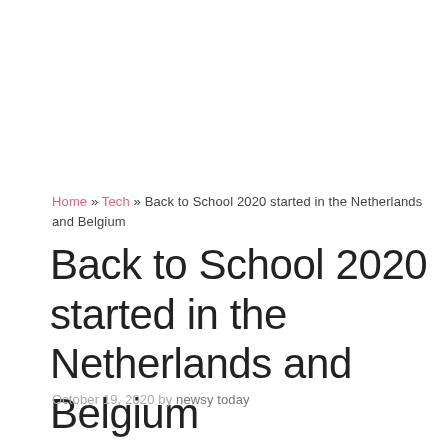Home » Tech » Back to School 2020 started in the Netherlands and Belgium
Back to School 2020 started in the Netherlands and Belgium
October 19, 2020 by newsy today